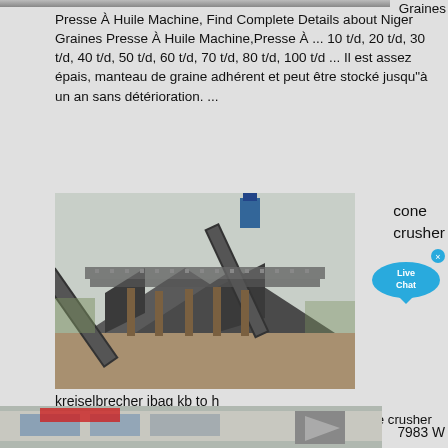[Figure (photo): Partial top image strip of industrial machinery (cropped at top of page)]
Graines
Presse À Huile Machine, Find Complete Details about Niger Graines Presse À Huile Machine,Presse À ... 10 t/d, 20 t/d, 30 t/d, 40 t/d, 50 t/d, 60 t/d, 70 t/d, 80 t/d, 100 t/d ... Il est assez épais, manteau de graine adhérent et peut être stocké jusqu"à un an sans détérioration. ...
[Figure (photo): Large industrial crushing/screening plant machinery with conveyor belts and metal framework on an outdoor site]
cone crusher
[Figure (other): Live Chat button with speech bubble icon]
kreiselbrecher ibag kb to h
cone crusher kreiselbrecher ibag kb 1600, 250 to h cone crusher kreiselbrecher ibag kb 1600, 250 to h. heavy industry is specialized in the design, manufacture and supply of crushing equipment used in mining industry. The product range of our company ...
[Figure (photo): Partial bottom image strip showing industrial or commercial building exterior]
7983 W